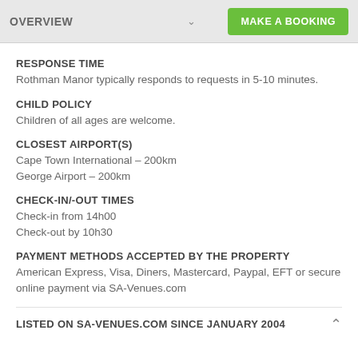OVERVIEW  MAKE A BOOKING
RESPONSE TIME
Rothman Manor typically responds to requests in 5-10 minutes.
CHILD POLICY
Children of all ages are welcome.
CLOSEST AIRPORT(S)
Cape Town International – 200km
George Airport – 200km
CHECK-IN/-OUT TIMES
Check-in from 14h00
Check-out by 10h30
PAYMENT METHODS ACCEPTED BY THE PROPERTY
American Express, Visa, Diners, Mastercard, Paypal, EFT or secure online payment via SA-Venues.com
LISTED ON SA-VENUES.COM SINCE JANUARY 2004